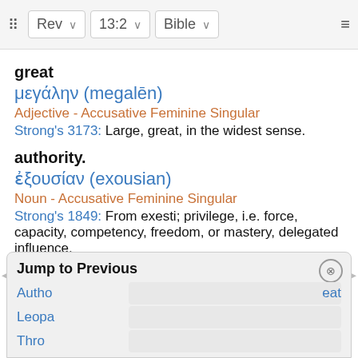Rev 13:2 Bible
great
μεγάλην (megalēn)
Adjective - Accusative Feminine Singular
Strong's 3173: Large, great, in the widest sense.
authority.
ἐξουσίαν (exousian)
Noun - Accusative Feminine Singular
Strong's 1849: From exesti; privilege, i.e. force, capacity, competency, freedom, or mastery, delegated influence.
Jump to Previous
Authority  Great
Leopard
Throne